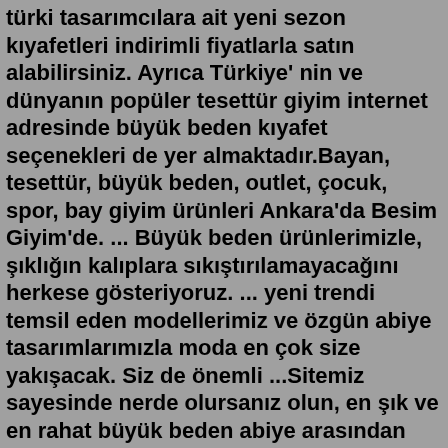türki tasarımcılara ait yeni sezon kıyafetleri indirimli fiyatlarla satın alabilirsiniz. Ayrıca Türkiye' nin ve dünyanın popüler tesettür giyim internet adresinde büyük beden kıyafet seçenekleri de yer almaktadır.Bayan, tesettür, büyük beden, outlet, çocuk, spor, bay giyim ürünleri Ankara'da Besim Giyim'de. ... Büyük beden ürünlerimizle, şıklığın kalıplara sıkıştırılamayacağını herkese gösteriyoruz. ... yeni trendi temsil eden modellerimiz ve özgün abiye tasarımlarımızla moda en çok size yakışacak. Siz de önemli ...Sitemiz sayesinde nerde olursanız olun, en şık ve en rahat büyük beden abiye arasından istediğiniz yere sipariş edebilirsiniz. Üstelik sipariş sonrası birçok ödeme kolaylığı ve güvenli alışveriş sistemi sizi bekliyor. Eğer kapalı giyim tarzınız varsa, sizin için de sitemizde tesettür büyük beden seçenekleri bulunuyor.Büyük beden tesettür abiye modelleri en düşük fiyat ve en iyi kalitede ücretsiz kargo ile Sahra Nur'dan satın alabilirsiniz. ... Büyük Beden; Tesettür Abiye; hakkımızda. Telefon: 0530 095 33 40 E-posta: destek@sahranur.com Adres: